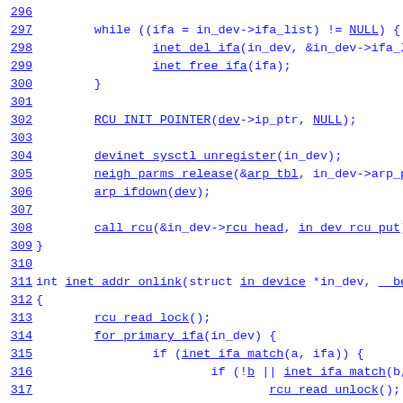Source code listing lines 296-320, showing C kernel networking functions including inet_del_ifa, inet_free_ifa, RCU_INIT_POINTER, devinet_sysctl_unregister, neigh_parms_release, arp_ifdown, call_rcu, and inet_addr_onlink with rcu_read_lock, for_primary_ifa, inet_ifa_match, rcu_read_unlock.